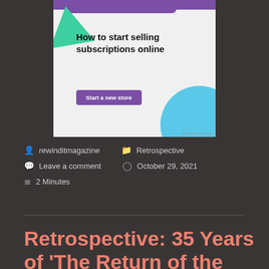[Figure (illustration): Advertisement banner with purple, green triangle, and blue circle decorative elements. Text reads 'How to start selling subscriptions online' with a purple 'Start a new store' button on a light gray background.]
rewinditmagazine
Retrospective
Leave a comment
October 29, 2021
2 Minutes
Retrospective: 35 Years of 'The Return of the